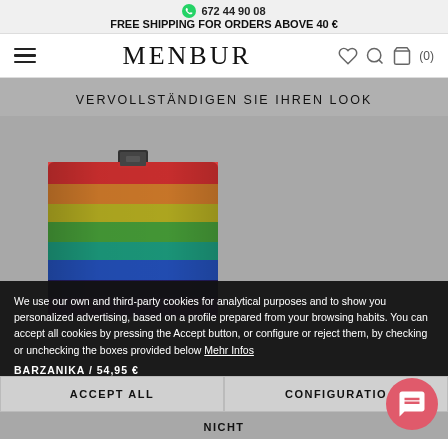672 44 90 08
FREE SHIPPING FOR ORDERS ABOVE 40 €
MENBUR
VERVOLLSTÄNDIGEN SIE IHREN LOOK
[Figure (photo): A colorful rainbow-striped clutch bag with a small rectangular clasp on top, shown against a grey background.]
BARZANIKA / 54,95 €
We use our own and third-party cookies for analytical purposes and to show you personalized advertising, based on a profile prepared from your browsing habits. You can accept all cookies by pressing the Accept button, or configure or reject them, by checking or unchecking the boxes provided below Mehr Infos
ACCEPT ALL
CONFIGURATIO
NICHT